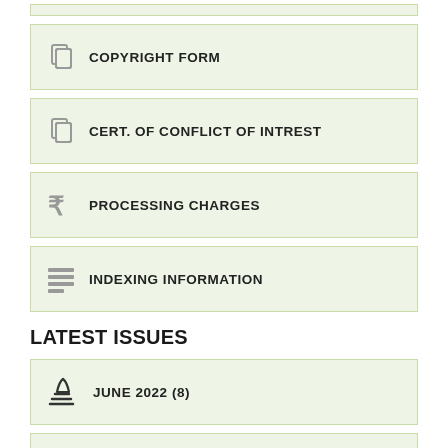COPYRIGHT FORM
CERT. OF CONFLICT OF INTREST
PROCESSING CHARGES
INDEXING INFORMATION
LATEST ISSUES
JUNE 2022 (8)
MARCH 2022 (12)